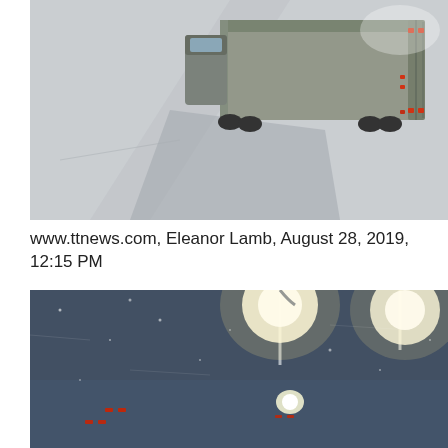[Figure (photo): Aerial view of a semi-truck with trailer driving on a snow-covered highway, casting a shadow on the white road surface. Red taillights visible. Snow and ice on road.]
www.ttnews.com, Eleanor Lamb, August 28, 2019, 12:15 PM
[Figure (photo): Night-time blizzard scene on a highway with bright street lights illuminating blowing snow. Multiple vehicles visible with red taillights in the distance. Low visibility conditions.]